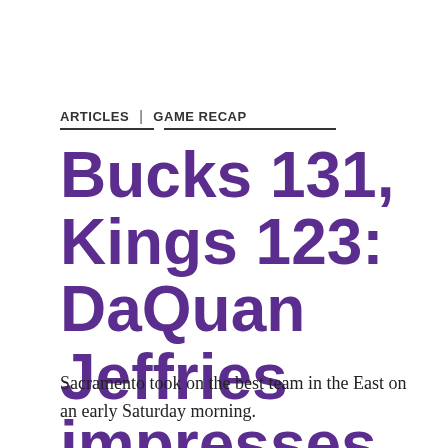ARTICLES | GAME RECAP
Bucks 131, Kings 123: DaQuan Jeffries impresses again
Sacramento took on the best team in the East on an early Saturday morning.